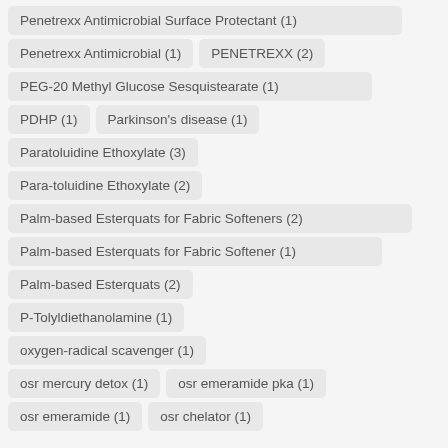Penetrexx Antimicrobial Surface Protectant (1)
Penetrexx Antimicrobial (1)
PENETREXX (2)
PEG-20 Methyl Glucose Sesquistearate (1)
PDHP (1)
Parkinson's disease (1)
Paratoluidine Ethoxylate (3)
Para-toluidine Ethoxylate (2)
Palm-based Esterquats for Fabric Softeners (2)
Palm-based Esterquats for Fabric Softener (1)
Palm-based Esterquats (2)
P-Tolyldiethanolamine (1)
oxygen-radical scavenger (1)
osr mercury detox (1)
osr emeramide pka (1)
osr emeramide (1)
osr chelator (1)